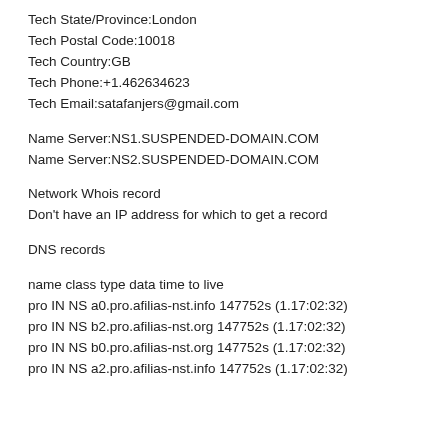Tech State/Province:London
Tech Postal Code:10018
Tech Country:GB
Tech Phone:+1.462634623
Tech Email:satafanjers@gmail.com
Name Server:NS1.SUSPENDED-DOMAIN.COM
Name Server:NS2.SUSPENDED-DOMAIN.COM
Network Whois record
Don't have an IP address for which to get a record
DNS records
name class type data time to live
pro IN NS a0.pro.afilias-nst.info 147752s (1.17:02:32)
pro IN NS b2.pro.afilias-nst.org 147752s (1.17:02:32)
pro IN NS b0.pro.afilias-nst.org 147752s (1.17:02:32)
pro IN NS a2.pro.afilias-nst.info 147752s (1.17:02:32)